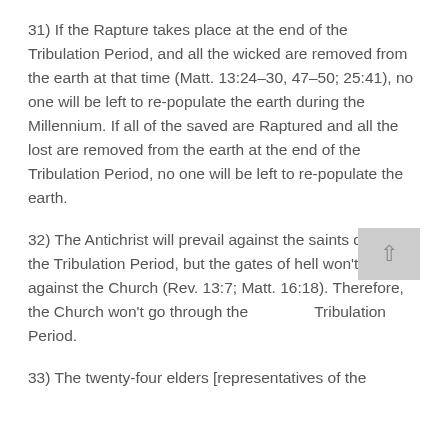31) If the Rapture takes place at the end of the Tribulation Period, and all the wicked are removed from the earth at that time (Matt. 13:24-30, 47-50; 25:41), no one will be left to re-populate the earth during the Millennium. If all of the saved are Raptured and all the lost are removed from the earth at the end of the Tribulation Period, no one will be left to re-populate the earth.
32) The Antichrist will prevail against the saints during the Tribulation Period, but the gates of hell won't prevail against the Church (Rev. 13:7; Matt. 16:18). Therefore, the Church won't go through the Tribulation Period.
33) The twenty-four elders [representatives of the